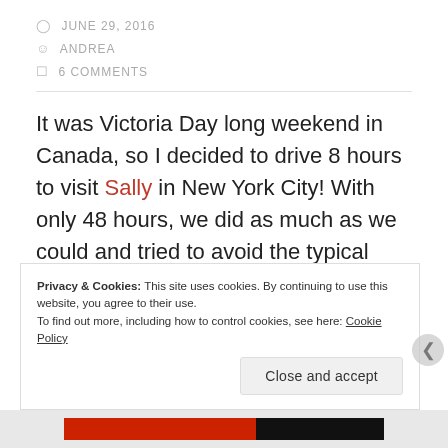JUNE 29, 2016
ANDREA
6 COMMENTS
It was Victoria Day long weekend in Canada, so I decided to drive 8 hours to visit Sally in New York City! With only 48 hours, we did as much as we could and tried to avoid the typical tourist-destinations. I told Sally I wanted a local-tour AKA a hipster-tour, bring me to all the restaurants and areas where I can appreciate the food, architecture,
Privacy & Cookies: This site uses cookies. By continuing to use this website, you agree to their use.
To find out more, including how to control cookies, see here: Cookie Policy
Close and accept